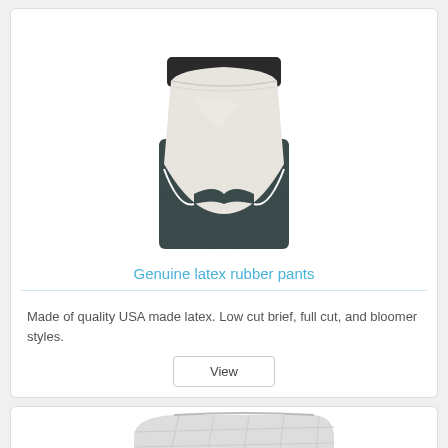[Figure (photo): White latex rubber pants on a dark mannequin form, showing elastic waistband and brief style cut]
Genuine latex rubber pants
Made of quality USA made latex. Low cut brief, full cut, and bloomer styles.
View
[Figure (photo): Partial view of a white quilted mattress pad or waterproof pad]